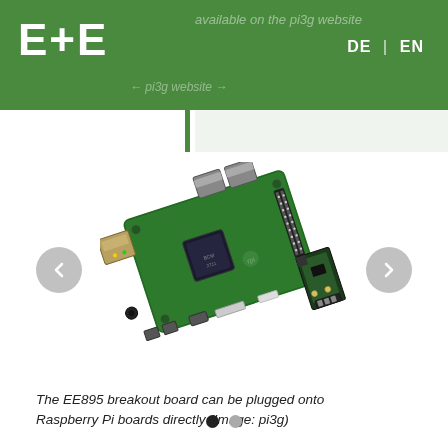E+E  DE | EN
[Figure (photo): A Raspberry Pi single-board computer with an EE895 breakout board plugged onto its GPIO header, shown at an angle against a white background.]
The EE895 breakout board can be plugged onto Raspberry Pi boards directly (Image: pi3g)